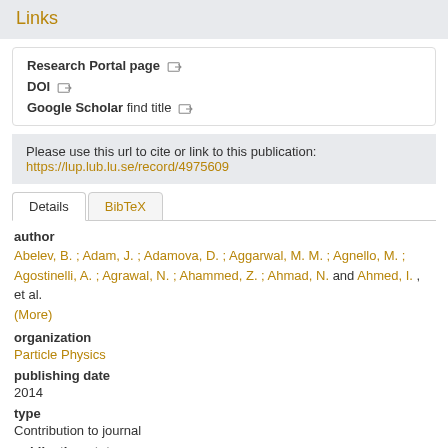Links
Research Portal page [icon]
DOI [icon]
Google Scholar find title [icon]
Please use this url to cite or link to this publication:
https://lup.lub.lu.se/record/4975609
Details | BibTeX
author
Abelev, B. ; Adam, J. ; Adamova, D. ; Aggarwal, M. M. ; Agnello, M. ; Agostinelli, A. ; Agrawal, N. ; Ahammed, Z. ; Ahmad, N. and Ahmed, I. , et al. (More)
organization
Particle Physics
publishing date
2014
type
Contribution to journal
publication status